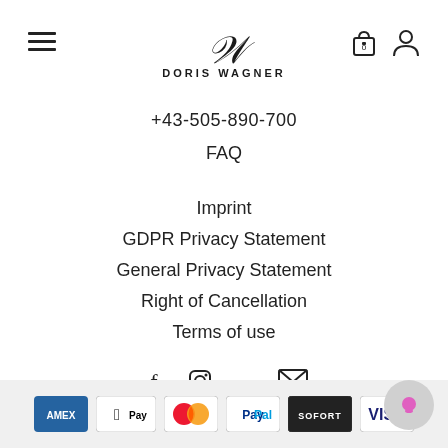[Figure (logo): Doris Wagner logo with script W and text DORIS WAGNER]
+43-505-890-700
FAQ
Imprint
GDPR Privacy Statement
General Privacy Statement
Right of Cancellation
Terms of use
[Figure (illustration): Social media icons: Facebook, Instagram, Pinterest, Email]
[Figure (illustration): Payment method icons: American Express, Apple Pay, Mastercard, PayPal, Sofort, Visa]